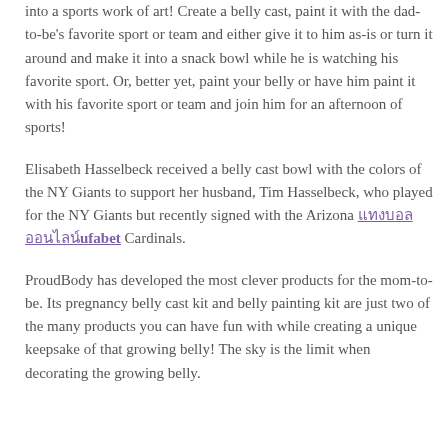into a sports work of art! Create a belly cast, paint it with the dad-to-be's favorite sport or team and either give it to him as-is or turn it around and make it into a snack bowl while he is watching his favorite sport. Or, better yet, paint your belly or have him paint it with his favorite sport or team and join him for an afternoon of sports!
Elisabeth Hasselbeck received a belly cast bowl with the colors of the NY Giants to support her husband, Tim Hasselbeck, who played for the NY Giants but recently signed with the Arizona แทงบอลออนไลน์ufabet Cardinals.
ProudBody has developed the most clever products for the mom-to-be. Its pregnancy belly cast kit and belly painting kit are just two of the many products you can have fun with while creating a unique keepsake of that growing belly! The sky is the limit when decorating the growing belly.